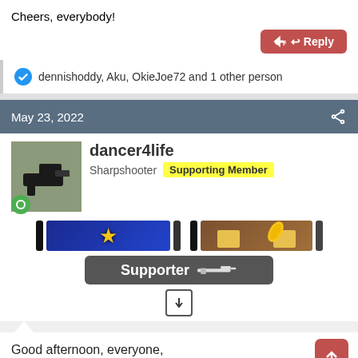Cheers, everybody!
Reply
dennishoddy, Aku, OkieJoe72 and 1 other person
May 23, 2022
dancer4life
Sharpshooter  Supporting Member
[Figure (illustration): User badges: blue star badge and brown banana/brick badge, plus Supporter badge with rifle icon, and a down-arrow button]
Good afternoon, everyone,
Nice little rain here in OKC this morning.
Reply